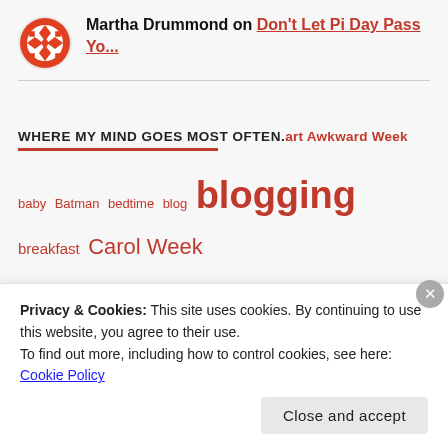Martha Drummond on Don't Let Pi Day Pass Yo...
WHERE MY MIND GOES MOST OFTEN. art Awkward Week
baby Batman bedtime blog blogging breakfast Carol Week child children Christmas confession Dad 2.0 daughter
Privacy & Cookies: This site uses cookies. By continuing to use this website, you agree to their use. To find out more, including how to control cookies, see here: Cookie Policy
Close and accept